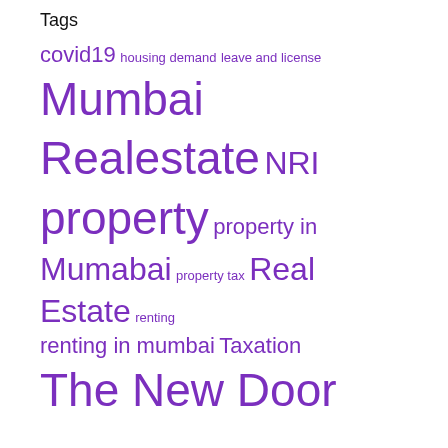Tags
covid19  housing demand  leave and license  Mumbai Realestate  NRI  property  property in Mumabai  property tax  Real Estate  renting  renting in mumbai  Taxation  The New Door
© The New Door - All rights reserved